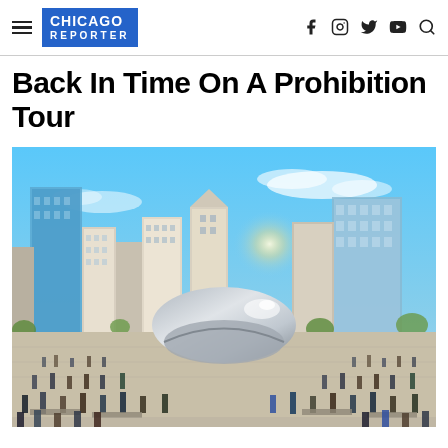CHICAGO REPORTER
Back In Time On A Prohibition Tour
[Figure (photo): Chicago skyline with the Cloud Gate (The Bean) sculpture in the foreground at Millennium Park, crowds of tourists, blue sky with wispy clouds, sun flare, tall skyscrapers in background]